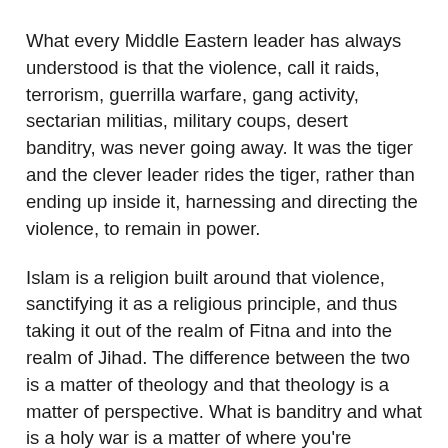What every Middle Eastern leader has always understood is that the violence, call it raids, terrorism, guerrilla warfare, gang activity, sectarian militias, military coups, desert banditry, was never going away. It was the tiger and the clever leader rides the tiger, rather than ending up inside it, harnessing and directing the violence, to remain in power.
Islam is a religion built around that violence, sanctifying it as a religious principle, and thus taking it out of the realm of Fitna and into the realm of Jihad. The difference between the two is a matter of theology and that theology is a matter of perspective. What is banditry and what is a holy war is a matter of where you're standing and which way the bullets are flying.
The Islamists might be able to direct the violence, but they could no more shut it down than any of their secular